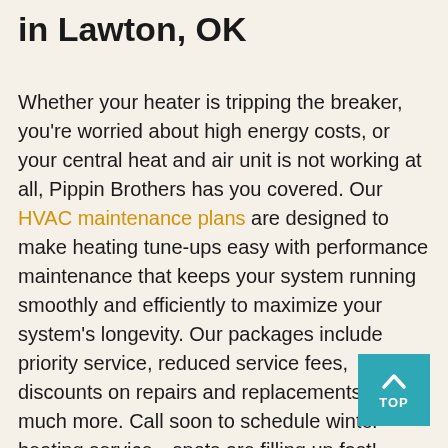in Lawton, OK
Whether your heater is tripping the breaker, you're worried about high energy costs, or your central heat and air unit is not working at all, Pippin Brothers has you covered. Our HVAC maintenance plans are designed to make heating tune-ups easy with performance maintenance that keeps your system running smoothly and efficiently to maximize your system's longevity. Our packages include priority service, reduced service fees, discounts on repairs and replacements, and much more. Call soon to schedule winter heating service—spots are filling up fast!